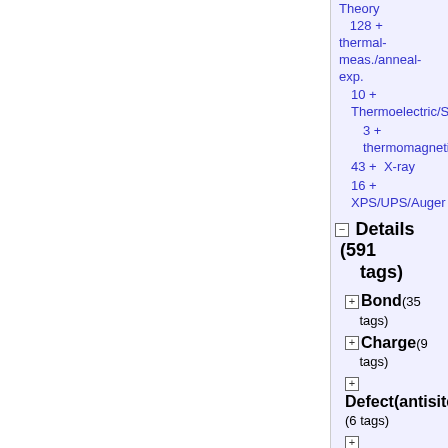Theory 128 + thermal-meas./anneal-exp.
10 + Thermoelectric/S
3 + thermomagnetic
43 + X-ray
16 + XPS/UPS/Auger
Details (591 tags)
Bond(35 tags)
Charge(9 tags)
Defect(antisite (6 tags)
Defect(intersti (18 tags)
Defect(vacancy (15 tags)
Defect-type(19 tags)
Element(65